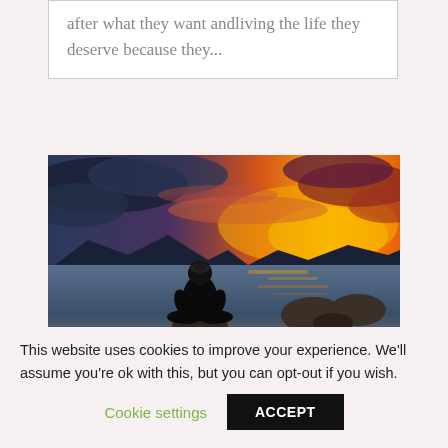after what they want andliving the life they deserve because they...
[Figure (photo): Person sitting cross-legged on a rock at the water's edge during a dramatic sunset with orange and purple clouds over a lake or ocean]
This website uses cookies to improve your experience. We'll assume you're ok with this, but you can opt-out if you wish.
Cookie settings   ACCEPT